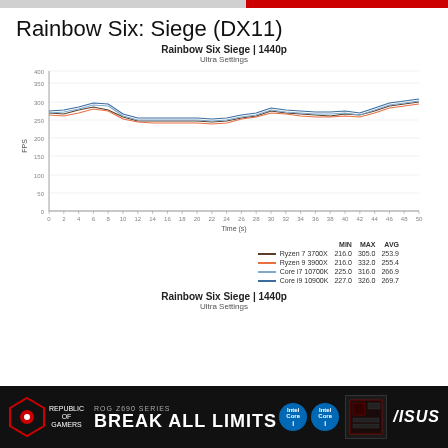Rainbow Six: Siege (DX11)
[Figure (continuous-plot): Line chart showing FPS over time (~50 seconds) for 4 CPUs (Ryzen 7 3700X, Ryzen 9 3900X, Core i7 10700K, Core i9 10900K) at Ultra Settings 1440p. Lines cluster between ~220-330 FPS throughout the benchmark run.]
|  | MIN | MAX | AVG |
| --- | --- | --- | --- |
| Ryzen 7 3700X | 216.0 | 305.0 | 253.9 |
| Ryzen 9 3900X | 216.0 | 332.0 | 255.4 |
| Core i7 10700K | 225.0 | 316.0 | 266.9 |
| Core i9 10900K | 227.0 | 326.0 | 269.7 |
Rainbow Six Siege | 1440p
Ultra Settings
[Figure (other): ASUS ROG Z690 Series advertisement banner — BREAK ALL LIMITS]